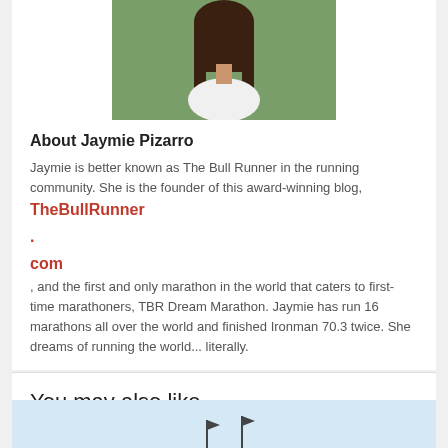[Figure (photo): Portrait photo of Jaymie Pizarro, a woman with long dark hair, wearing a white dress, outdoors with green background]
About Jaymie Pizarro
Jaymie is better known as The Bull Runner in the running community. She is the founder of this award-winning blog, TheBullRunner.com, and the first and only marathon in the world that caters to first-time marathoners, TBR Dream Marathon. Jaymie has run 16 marathons all over the world and finished Ironman 70.3 twice. She dreams of running the world... literally.
You may also like...
[Figure (photo): Blue sky with flags visible at the bottom, partial image cut off]